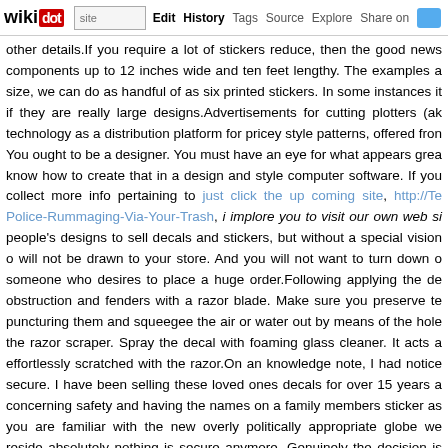wikidot | site | Edit | History | Tags | Source | Explore | Share on [Twitter]
other details.If you require a lot of stickers reduce, then the good news components up to 12 inches wide and ten feet lengthy. The examples a size, we can do as handful of as six printed stickers. In some instances it if they are really large designs.Advertisements for cutting plotters (ak technology as a distribution platform for pricey style patterns, offered fron You ought to be a designer. You must have an eye for what appears grea know how to create that in a design and style computer software. If you collect more info pertaining to just click the up coming site, http://Te Police-Rummaging-Via-Your-Trash, i implore you to visit our own web si people's designs to sell decals and stickers, but without a special vision o will not be drawn to your store. And you will not want to turn down o someone who desires to place a huge order.Following applying the de obstruction and fenders with a razor blade. Make sure you preserve te puncturing them and squeegee the air or water out by means of the hole the razor scraper. Spray the decal with foaming glass cleaner. It acts a effortlessly scratched with the razor.On an knowledge note, I had notice secure. I have been selling these loved ones decals for over 15 years a concerning safety and having the names on a family members sticker as you are familiar with the new overly politically appropriate globe we reside absolutely nothing is secure anymore. Genuinely the decision is finally Lengthy Island, qualified for the U.S. Open with a racket described by Th fishnet line, just click the up coming site adhesive tape and just click the spaghetti effect." That made the ball spin and bounce in unpredictable m fans who favor designing by hand, as opposed to relying on application software program. Merely plug it in, scan your function, adhere to the to glue is left on the boat then you must use a rag soaked in mineral sprits, soften the glue. Then you can squeegee the glue off. This is a really me applications will succeed. If mineral sprits is not operating too well then yo that this is really one of the chances available then there are f